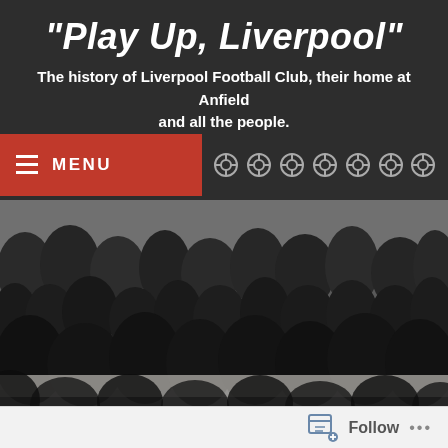"Play Up, Liverpool"
The history of Liverpool Football Club, their home at Anfield and all the people.
[Figure (screenshot): Navigation bar with red MENU button showing hamburger icon and text MENU, followed by social media/navigation icons on dark background]
[Figure (photo): Black and white historical photograph of a large crowd of spectators at a football match, tightly packed together behind a barrier]
TAG: EVERTON RESERVES
Follow ...